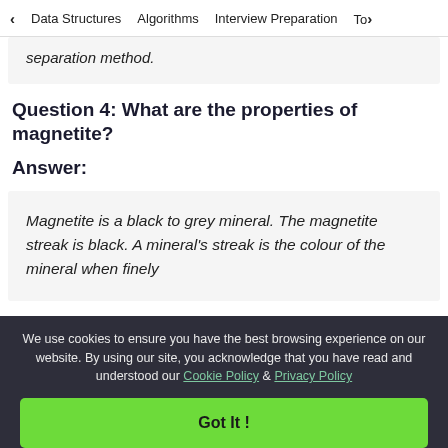< Data Structures   Algorithms   Interview Preparation   To>
separation method.
Question 4: What are the properties of magnetite?
Answer:
Magnetite is a black to grey mineral. The magnetite streak is black. A mineral's streak is the colour of the mineral when finely
We use cookies to ensure you have the best browsing experience on our website. By using our site, you acknowledge that you have read and understood our Cookie Policy & Privacy Policy
Got It !